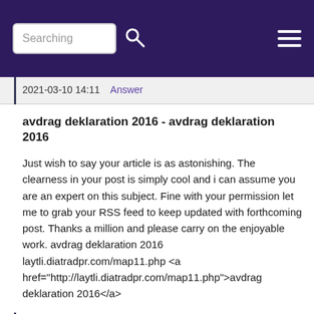Searching [search icon] [hamburger menu]
2021-03-10 14:11    Answer
avdrag deklaration 2016 - avdrag deklaration 2016
Just wish to say your article is as astonishing. The clearness in your post is simply cool and i can assume you are an expert on this subject. Fine with your permission let me to grab your RSS feed to keep updated with forthcoming post. Thanks a million and please carry on the enjoyable work. avdrag deklaration 2016 laytli.diatradpr.com/map11.php <a href="http://laytli.diatradpr.com/map11.php">avdrag deklaration 2016</a>
2021-03-10 13:42    Answer